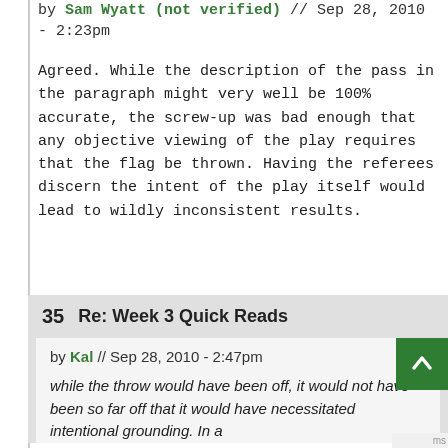by Sam Wyatt (not verified) // Sep 28, 2010 - 2:23pm
Agreed. While the description of the pass in the paragraph might very well be 100% accurate, the screw-up was bad enough that any objective viewing of the play requires that the flag be thrown. Having the referees discern the intent of the play itself would lead to wildly inconsistent results.
35  Re: Week 3 Quick Reads
by Kal // Sep 28, 2010 - 2:47pm
while the throw would have been off, it would not have been so far off that it would have necessitated intentional grounding. In a